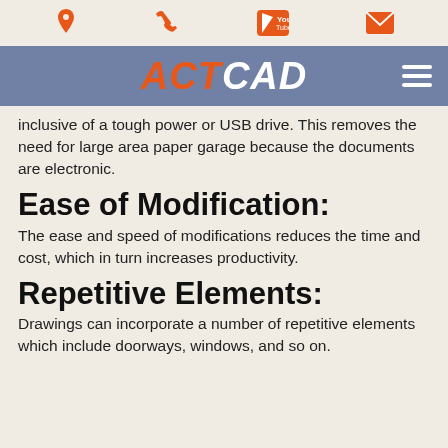ACT CAD (navigation bar with icons)
inclusive of a tough power or USB drive. This removes the need for large area paper garage because the documents are electronic.
Ease of Modification:
The ease and speed of modifications reduces the time and cost, which in turn increases productivity.
Repetitive Elements:
Drawings can incorporate a number of repetitive elements which include doorways, windows, and so on.